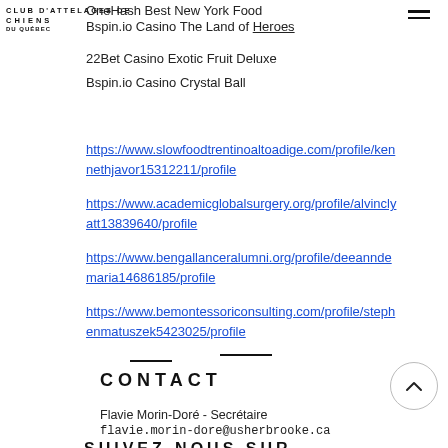CLUB D'ATTELAGES DE CHIENS DU QUÉBEC
OneHash Best New York Food
Bspin.io Casino The Land of Heroes
22Bet Casino Exotic Fruit Deluxe
Bspin.io Casino Crystal Ball
https://www.slowfoodtrentinoaltoadige.com/profile/kennethjavor15312211/profile
https://www.academicglobalsurgery.org/profile/alvinclyatt13839640/profile
https://www.bengallanceralumni.org/profile/deeanndemaria14686185/profile
https://www.bemontessoriconsulting.com/profile/stephenmatuszek5423025/profile
CONTACT
Flavie Morin-Doré - Secrétaire
flavie.morin-dore@usherbrooke.ca
SUIVEZ-NOUS SUR